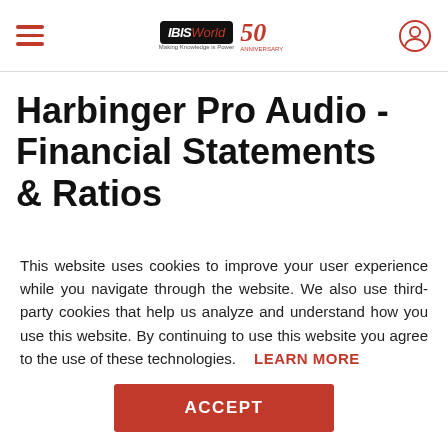IBISWorld 50 ANNIVERSARY — navigation bar with hamburger menu and user icon
Harbinger Pro Audio - Financial Statements & Ratios
This website uses cookies to improve your user experience while you navigate through the website. We also use third-party cookies that help us analyze and understand how you use this website. By continuing to use this website you agree to the use of these technologies.
LEARN MORE
ACCEPT